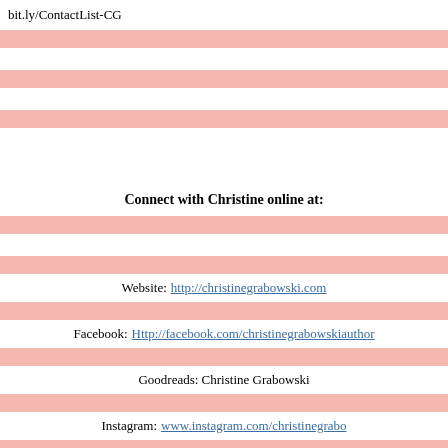bit.ly/ContactList-CG
Connect with Christine online at:
Website: http://christinegrabowski.com
Facebook: Http://facebook.com/christinegrabowskiauthor
Goodreads: Christine Grabowski
Instagram: www.instagram.com/christinegrabo
Twitter: http://twitter.com/christinegrabo